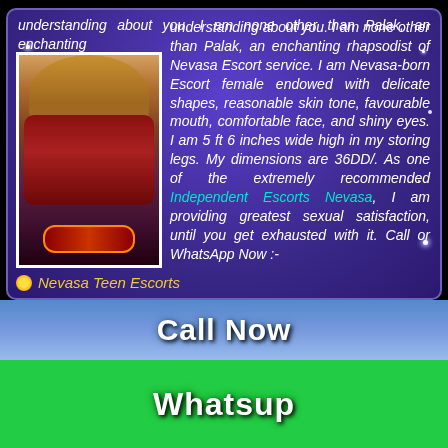understanding about you. I am none other than Palak, an enchanting rhapsodist of Nevasa Escort service. I am Nevasa-born Escort female endowed with delicate shapes, reasonable skin tone, favourable mouth, comfortable face, and shiny eyes. I am 5 ft 6 inches wide high in my storing legs. My dimensions are 36DD/. As one of the extremely recommended Independent Escorts Nevasa, I am providing greatest sexual satisfaction, until you get exhausted with it. Call or WhatsApp Now :-
[Figure (photo): Photo of a woman in red outfit]
Nevasa Teen Escorts
Call Me
Whatsapp Me
Call Now
Whatsup